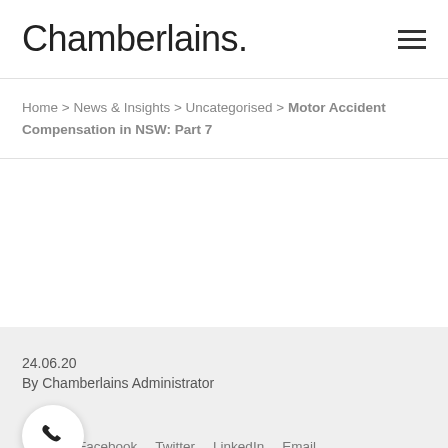Chamberlains.
Home > News & Insights > Uncategorised > Motor Accident Compensation in NSW: Part 7
24.06.20
By Chamberlains Administrator
Share   Facebook   Twitter   LinkedIn   Email